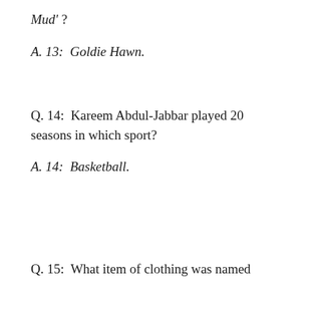Mud' ?
A. 13:  Goldie Hawn.
Q. 14:  Kareem Abdul-Jabbar played 20 seasons in which sport?
A. 14:  Basketball.
Q. 15:  What item of clothing was named